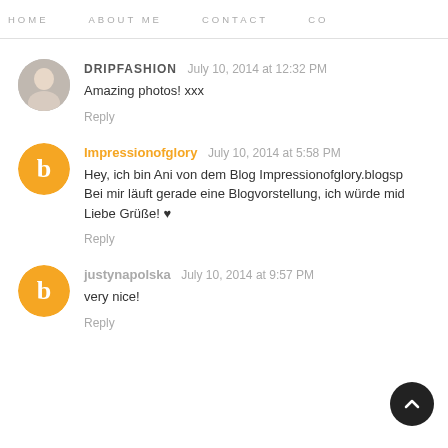HOME   ABOUT ME   CONTACT   CO
DRIPFASHION  July 10, 2014 at 12:32 PM
Amazing photos! xxx
Reply
Impressionofglory  July 10, 2014 at 5:58 PM
Hey, ich bin Ani von dem Blog Impressionofglory.blogsp
Bei mir läuft gerade eine Blogvorstellung, ich würde mid
Liebe Grüße! ♥
Reply
justynapolska  July 10, 2014 at 9:57 PM
very nice!
Reply